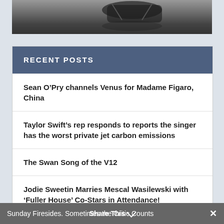[Figure (photo): Partial view of a dark object (appears to be a car/vehicle detail) against a dark reflective background, cropped at the top of the page.]
RECENT POSTS
Sean O’Pry channels Venus for Madame Figaro, China
Taylor Swift’s rep responds to reports the singer has the worst private jet carbon emissions
The Swan Song of the V12
Jodie Sweetin Marries Mescal Wasilewski with ‘Fuller House’ Co-Stars in Attendance!
Sunday Firesides. Sometimes the Critic Counts   Share This   ×